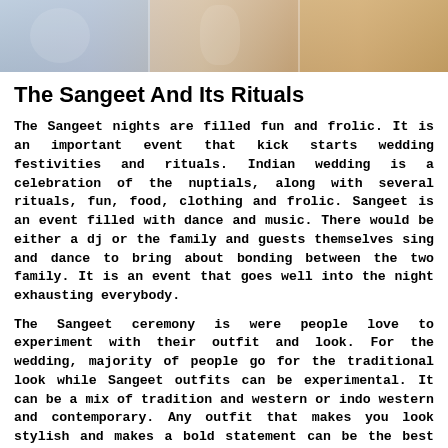[Figure (photo): Banner photo showing women in traditional Indian wedding attire and decorative clothing]
The Sangeet And Its Rituals
The Sangeet nights are filled fun and frolic. It is an important event that kick starts wedding festivities and rituals. Indian wedding is a celebration of the nuptials, along with several rituals, fun, food, clothing and frolic. Sangeet is an event filled with dance and music. There would be either a dj or the family and guests themselves sing and dance to bring about bonding between the two family. It is an event that goes well into the night exhausting everybody.
The Sangeet ceremony is were people love to experiment with their outfit and look. For the wedding, majority of people go for the traditional look while Sangeet outfits can be experimental. It can be a mix of tradition and western or indo western and contemporary. Any outfit that makes you look stylish and makes a bold statement can be the best choice.